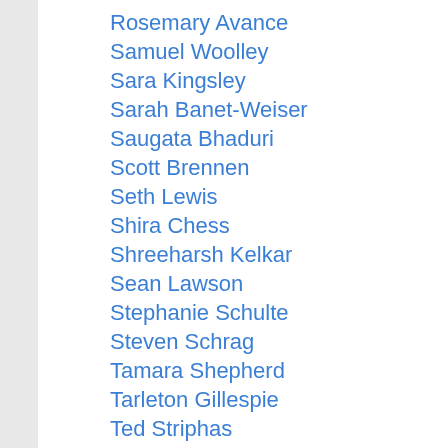Rosemary Avance
Samuel Woolley
Sara Kingsley
Sarah Banet-Weiser
Saugata Bhaduri
Scott Brennen
Seth Lewis
Shira Chess
Shreeharsh Kelkar
Sean Lawson
Stephanie Schulte
Steven Schrag
Tamara Shepherd
Tarleton Gillespie
Ted Striphas
Tim Highfield
Thomas Streeter
Tim Jordan
Tom Boellstorff